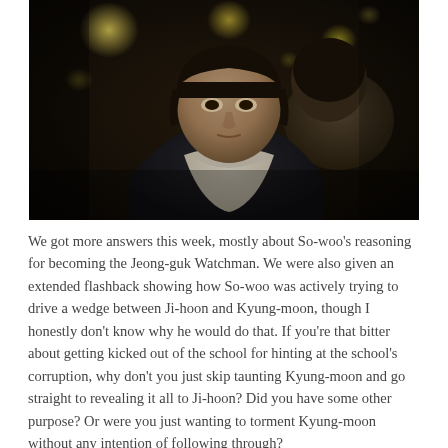[Figure (photo): A young Asian man with a bowl cut hairstyle wearing a white turtleneck sweater and dark jacket, facing another person whose back is to the camera. The background is dark with blurred yellow bokeh lights, suggesting a nighttime outdoor setting.]
We got more answers this week, mostly about So-woo's reasoning for becoming the Jeong-guk Watchman. We were also given an extended flashback showing how So-woo was actively trying to drive a wedge between Ji-hoon and Kyung-moon, though I honestly don't know why he would do that. If you're that bitter about getting kicked out of the school for hinting at the school's corruption, why don't you just skip taunting Kyung-moon and go straight to revealing it all to Ji-hoon? Did you have some other purpose? Or were you just wanting to torment Kyung-moon without any intention of following through?